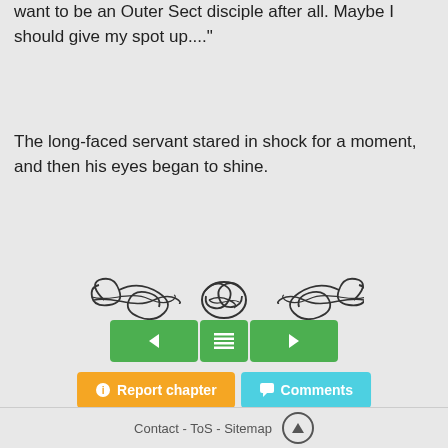want to be an Outer Sect disciple after all. Maybe I should give my spot up...."
The long-faced servant stared in shock for a moment, and then his eyes began to shine.
[Figure (illustration): Decorative ornamental divider with scrollwork and flourishes]
[Figure (other): Navigation buttons: left arrow, menu/list icon, right arrow (all green)]
[Figure (other): Report chapter button (orange) and Comments button (cyan)]
Contact - ToS - Sitemap